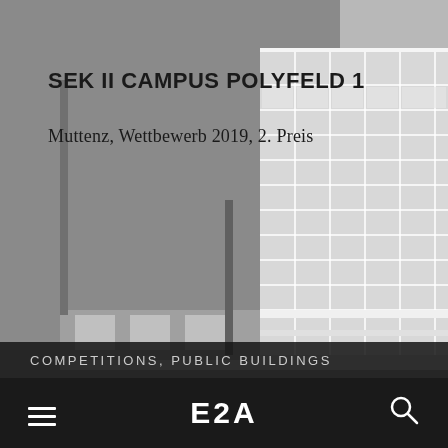[Figure (illustration): Architectural rendering/model of a multi-story modern building (SEK II Campus Polyfeld 1) shown in grayscale. The building features a grid facade with multiple floors of windows. Background is medium gray. A diagonal cut is visible at the top-right corner.]
SEK II CAMPUS POLYFELD 1
Muttenz, Wettbewerb 2019, 2. Preis
COMPETITIONS, PUBLIC BUILDINGS
E2A